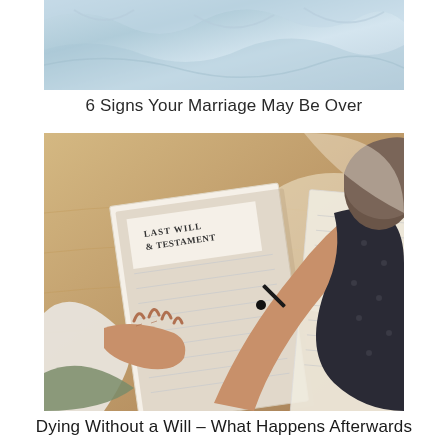[Figure (photo): Partial top photo showing crumpled light blue fabric or bedding, cropped at top of page]
6 Signs Your Marriage May Be Over
[Figure (photo): Photo of two elderly people at a wooden table signing or reviewing a document titled 'LAST WILL & TESTAMENT'. One person holds a pen and is writing; the other person's hands rest on the table.]
Dying Without a Will – What Happens Afterwards